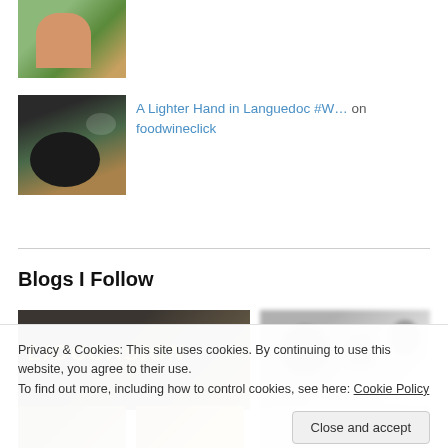[Figure (photo): Photo of a person outdoors among green foliage]
[Figure (photo): Photo of a food dish in a dark bowl]
A Lighter Hand in Languedoc #W… on foodwineclick
Blogs I Follow
[Figure (photo): Blog thumbnail with stylized yellow italic text on dark background]
[Figure (photo): Blurred blog thumbnail with grey tones]
Privacy & Cookies: This site uses cookies. By continuing to use this website, you agree to their use.
To find out more, including how to control cookies, see here: Cookie Policy
Close and accept